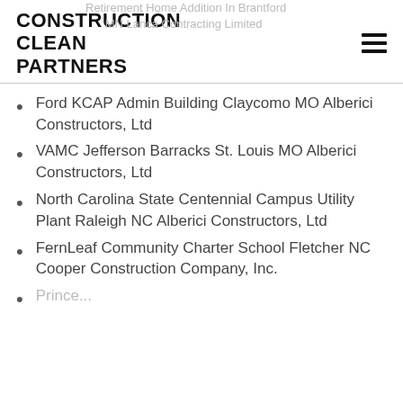CONSTRUCTION CLEAN PARTNERS
Retirement Home Addition In Brantford MN Lanca Contracting Limited
Ford KCAP Admin Building Claycomo MO Alberici Constructors, Ltd
VAMC Jefferson Barracks St. Louis MO Alberici Constructors, Ltd
North Carolina State Centennial Campus Utility Plant Raleigh NC Alberici Constructors, Ltd
FernLeaf Community Charter School Fletcher NC Cooper Construction Company, Inc.
Prince...